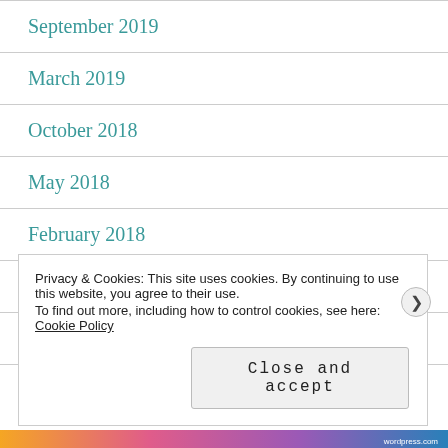September 2019
March 2019
October 2018
May 2018
February 2018
January 2018
October 2017
Privacy & Cookies: This site uses cookies. By continuing to use this website, you agree to their use. To find out more, including how to control cookies, see here: Cookie Policy
Close and accept